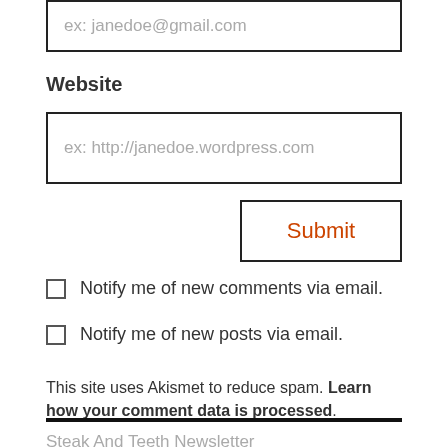ex: janedoe@gmail.com
Website
ex: http://janedoe.wordpress.com
Submit
Notify me of new comments via email.
Notify me of new posts via email.
This site uses Akismet to reduce spam. Learn how your comment data is processed.
Steak And Teeth Newsletter